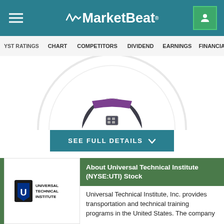MarketBeat
ANALYST RATINGS  CHART  COMPETITORS  DIVIDEND  EARNINGS  FINANCIALS
[Figure (other): Partial donut or gauge chart showing stock rating metrics with dark center and purple/dark segments visible at top]
SEE FULL DETAILS
About Universal Technical Institute (NYSE:UTI) Stock
Universal Technical Institute, Inc. provides transportation and technical training programs in the United States. The company